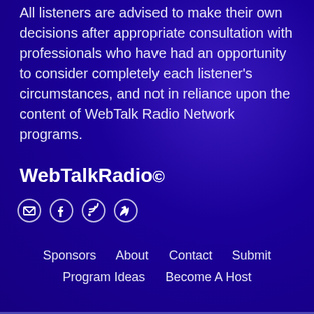All listeners are advised to make their own decisions after appropriate consultation with professionals who have had an opportunity to consider completely each listener's circumstances, and not in reliance upon the content of WebTalk Radio Network programs.
WebTalkRadio
[Figure (infographic): Four circular social media icons: email envelope, Facebook f, RSS feed, Twitter bird — white outlines on dark blue background]
Sponsors  About  Contact  Submit  Program Ideas  Become A Host